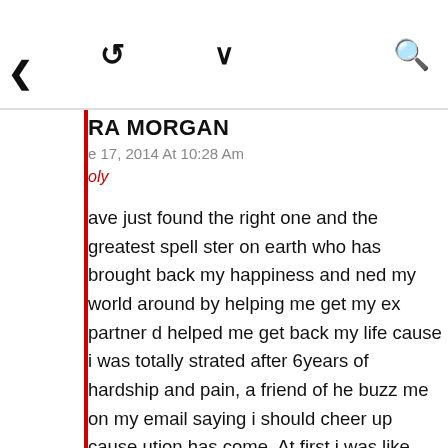[Figure (screenshot): Social media/blog interface toolbar with retweet icon, chevron/dropdown icon, and search icon]
RA MORGAN
e 17, 2014 At 10:28 Am
oly
ave just found the right one and the greatest spell ster on earth who has brought back my happiness and ned my world around by helping me get my ex partner d helped me get back my life cause i was totally strated after 6years of hardship and pain, a friend of he buzz me on my email saying i should cheer up cause ution has come. At first i was like what are you saying, en she mentioned the name 'EBOEHI' and i must thank savior Great DR EBOEHI who has play a very vital part ny life making me a great person and the most happiest